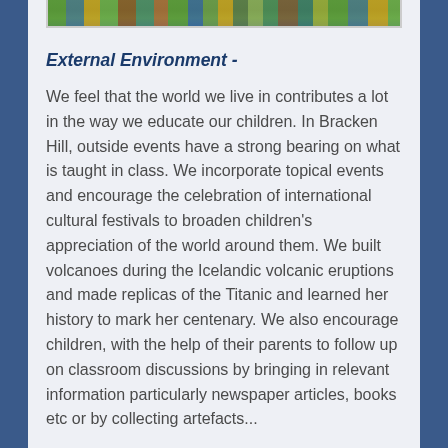[Figure (photo): Colorful photo strip showing children or outdoor educational activities at Bracken Hill school]
External Environment -
We feel that the world we live in contributes a lot in the way we educate our children. In Bracken Hill, outside events have a strong bearing on what is taught in class. We incorporate topical events and encourage the celebration of international cultural festivals to broaden children's appreciation of the world around them. We built volcanoes during the Icelandic volcanic eruptions and made replicas of the Titanic and learned her history to mark her centenary. We also encourage children, with the help of their parents to follow up on classroom discussions by bringing in relevant information particularly newspaper articles, books etc or by collecting artefacts...